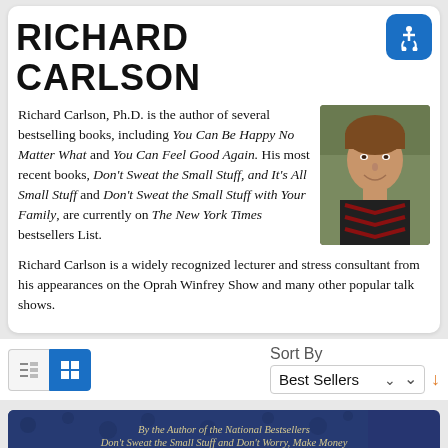RICHARD CARLSON
Richard Carlson, Ph.D. is the author of several bestselling books, including You Can Be Happy No Matter What and You Can Feel Good Again. His most recent books, Don't Sweat the Small Stuff, and It's All Small Stuff and Don't Sweat the Small Stuff with Your Family, are currently on The New York Times bestsellers List.
[Figure (photo): Portrait photo of Richard Carlson, a smiling man with short brown hair wearing a patterned sweater]
Richard Carlson is a widely recognized lecturer and stress consultant from his appearances on the Oprah Winfrey Show and many other popular talk shows.
[Figure (screenshot): Sort By toolbar with list/grid view toggle buttons and a Best Sellers dropdown with sort arrow]
[Figure (photo): Partial book cover with dark blue background and gold text reading: By the Author of the National Bestsellers Don't Sweat the Small Stuff and Don't Worry, Make Money]